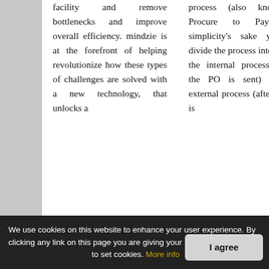facility and remove bottlenecks and improve overall efficiency. mindzie is at the forefront of helping revolutionize how these types of challenges are solved with a new technology, that unlocks a
process (also known as Procure to Pay). For simplicity's sake you can divide the process into 2 parts: the internal process (before the PO is sent) and the external process (after the PO is
We use cookies on this website to enhance your user experience. By clicking any link on this page you are giving your consent to set cookies. More info